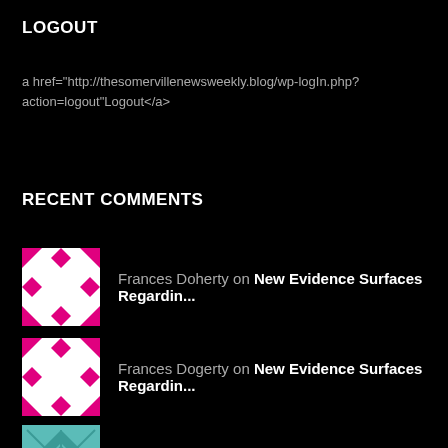LOGOUT
a href="http://thesomervillenewsweekly.blog/wp-logIn.php?action=logout"Logout</a>
RECENT COMMENTS
Frances Doherty on New Evidence Surfaces Regardin...
Frances Dogerty on New Evidence Surfaces Regardin...
Anonymous on Somerville/Medford News Weekly...
Karen G. on MBTA Orange and Green Line Clo...
Claire Goodwin on Somerville/Medford News Weekly...